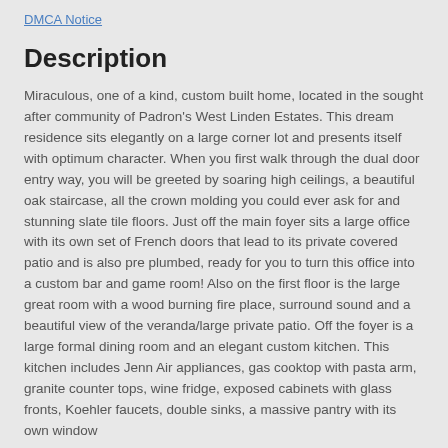DMCA Notice
Description
Miraculous, one of a kind, custom built home, located in the sought after community of Padron's West Linden Estates. This dream residence sits elegantly on a large corner lot and presents itself with optimum character. When you first walk through the dual door entry way, you will be greeted by soaring high ceilings, a beautiful oak staircase, all the crown molding you could ever ask for and stunning slate tile floors. Just off the main foyer sits a large office with its own set of French doors that lead to its private covered patio and is also pre plumbed, ready for you to turn this office into a custom bar and game room! Also on the first floor is the large great room with a wood burning fire place, surround sound and a beautiful view of the veranda/large private patio. Off the foyer is a large formal dining room and an elegant custom kitchen. This kitchen includes Jenn Air appliances, gas cooktop with pasta arm, granite counter tops, wine fridge, exposed cabinets with glass fronts, Koehler faucets, double sinks, a massive pantry with its own window